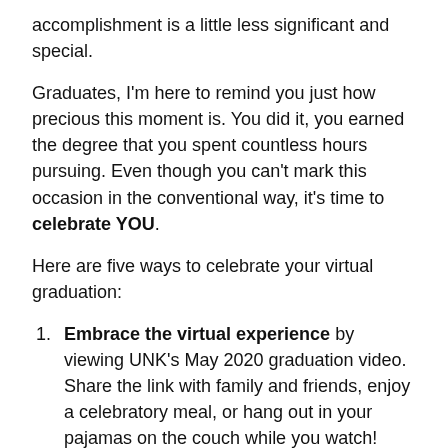accomplishment is a little less significant and special.
Graduates, I'm here to remind you just how precious this moment is. You did it, you earned the degree that you spent countless hours pursuing. Even though you can't mark this occasion in the conventional way, it's time to celebrate YOU.
Here are five ways to celebrate your virtual graduation:
Embrace the virtual experience by viewing UNK's May 2020 graduation video. Share the link with family and friends, enjoy a celebratory meal, or hang out in your pajamas on the couch while you watch! More information about the video will become available as commencement day arrives. Until